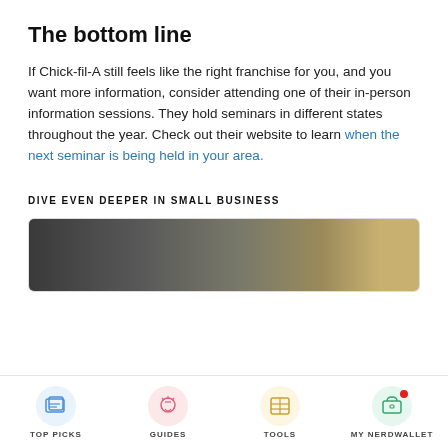The bottom line
If Chick-fil-A still feels like the right franchise for you, and you want more information, consider attending one of their in-person information sessions. They hold seminars in different states throughout the year. Check out their website to learn when the next seminar is being held in your area.
DIVE EVEN DEEPER IN SMALL BUSINESS
[Figure (photo): Photo of people in a small business setting]
TOP PICKS   GUIDES   TOOLS   MY NERDWALLET